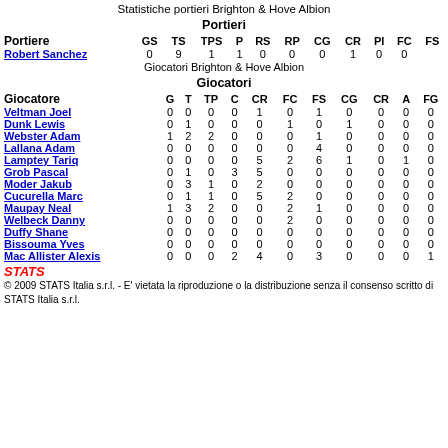Statistiche portieri Brighton & Hove Albion
Portieri
| Portiere | GS | TS | TPS | P | RS | RP | CG | CR | PI | FC | FS |
| --- | --- | --- | --- | --- | --- | --- | --- | --- | --- | --- | --- |
| Robert Sanchez | 0 | 9 | 1 | 1 | 0 | 0 | 0 | 1 | 0 | 0 |
Giocatori Brighton & Hove Albion
Giocatori
| Giocatore | G | T | TP | C | CR | FC | FS | CG | CR | A | FG |
| --- | --- | --- | --- | --- | --- | --- | --- | --- | --- | --- | --- |
| Veltman Joel | 0 | 0 | 0 | 0 | 1 | 0 | 1 | 0 | 0 | 0 | 0 |
| Dunk Lewis | 0 | 1 | 0 | 0 | 0 | 1 | 0 | 1 | 0 | 0 | 0 |
| Webster Adam | 1 | 2 | 2 | 0 | 0 | 0 | 1 | 0 | 0 | 0 | 0 |
| Lallana Adam | 0 | 0 | 0 | 0 | 0 | 0 | 4 | 0 | 0 | 0 | 0 |
| Lamptey Tariq | 0 | 0 | 0 | 0 | 5 | 2 | 6 | 1 | 0 | 1 | 0 |
| Grob Pascal | 0 | 1 | 0 | 3 | 5 | 0 | 0 | 0 | 0 | 0 | 0 |
| Moder Jakub | 0 | 3 | 1 | 0 | 2 | 0 | 0 | 0 | 0 | 0 | 0 |
| Cucurella Marc | 0 | 1 | 1 | 0 | 5 | 2 | 0 | 0 | 0 | 0 | 0 |
| Maupay Neal | 1 | 3 | 2 | 0 | 0 | 2 | 1 | 0 | 0 | 0 | 0 |
| Welbeck Danny | 0 | 0 | 0 | 0 | 0 | 2 | 0 | 0 | 0 | 0 | 0 |
| Duffy Shane | 0 | 0 | 0 | 0 | 0 | 0 | 0 | 0 | 0 | 0 | 0 |
| Bissouma Yves | 0 | 0 | 0 | 0 | 0 | 0 | 0 | 0 | 0 | 0 | 0 |
| Mac Allister Alexis | 0 | 0 | 0 | 2 | 4 | 0 | 3 | 0 | 0 | 0 | 1 |
[Figure (logo): STATS logo in red italic bold text]
© 2009 STATS Italia s.r.l. - E' vietata la riproduzione o la distribuzione senza il consenso scritto di STATS Italia s.r.l.